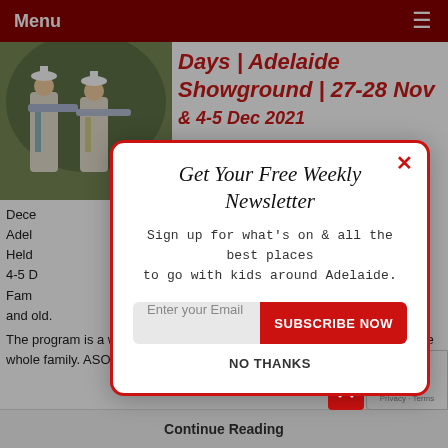Menu
[Figure (photo): Photo of performers in white costumes playing brass instruments outdoors]
Days | Adelaide Showground | 27-28 Nov & 4-5 Dec 2021
Powered by SUMO
December Adelaide Held 4-5 D Fam and old.
The program is a whole lot of FREE musical fun to be had outdoors for the whole family. ASO have put togethe
Get Your Free Weekly Newsletter
Sign up for what's on & all the best places to go with kids around Adelaide.
Enter your Email
SUBSCRIBE NOW
NO THANKS
Continue Reading